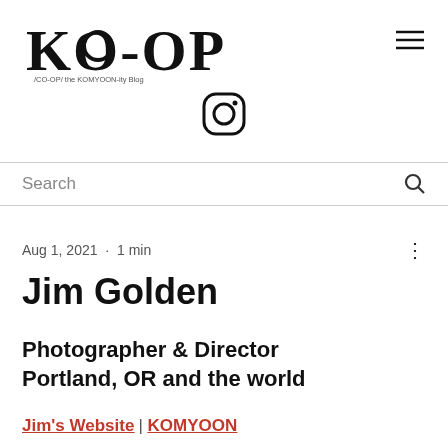[Figure (logo): KO-OP logo with subtitle '/CO-OP/ the KOMYOON-ity Blog']
[Figure (logo): Instagram icon (circle camera outline)]
Search
Aug 1, 2021 · 1 min
Jim Golden
Photographer & Director Portland, OR and the world
Jim's Website | KOMYOON